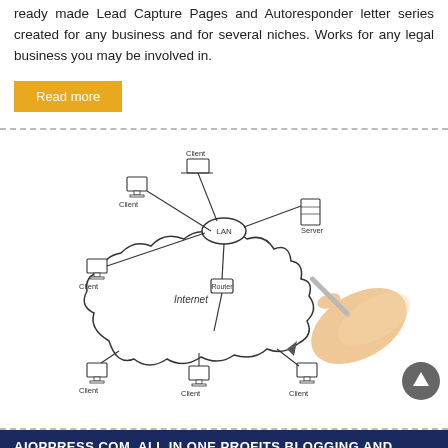ready made Lead Capture Pages and Autoresponder letter series created for any business and for several niches. Works for any legal business you may be involved in.
Read more
[Figure (illustration): A hand drawing a network diagram showing computers labeled as Client devices connected through a Router to a LAN hub, with a Server, and connected to a cloud labeled Internet, with more Client computers below.]
AIOPPRESS.COM. ALL IN ONE PROFITS BLOGGING AND